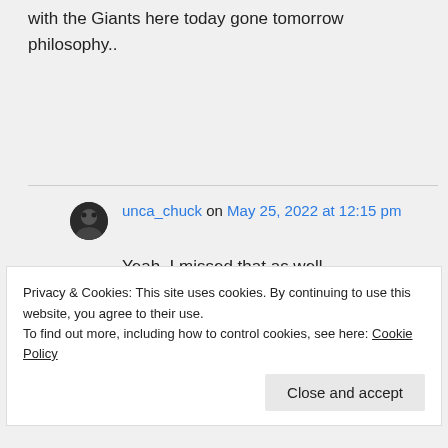Thanks much.kinda liked him.But with the Giants here today gone tomorrow philosophy..
unca_chuck on May 25, 2022 at 12:15 pm
Yeah, I missed that as well. Certainly like Luke over Pudlo.
Privacy & Cookies: This site uses cookies. By continuing to use this website, you agree to their use. To find out more, including how to control cookies, see here: Cookie Policy